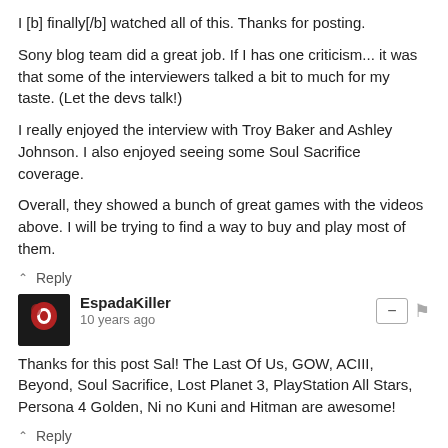I [b] finally[/b] watched all of this. Thanks for posting.
Sony blog team did a great job. If I has one criticism... it was that some of the interviewers talked a bit to much for my taste. (Let the devs talk!)
I really enjoyed the interview with Troy Baker and Ashley Johnson. I also enjoyed seeing some Soul Sacrifice coverage.
Overall, they showed a bunch of great games with the videos above. I will be trying to find a way to buy and play most of them.
^ Reply
EspadaKiller
10 years ago
Thanks for this post Sal! The Last Of Us, GOW, ACIII, Beyond, Soul Sacrifice, Lost Planet 3, PlayStation All Stars, Persona 4 Golden, Ni no Kuni and Hitman are awesome!
^ Reply
KingKellogg The Waffle Haggler
10 years ago